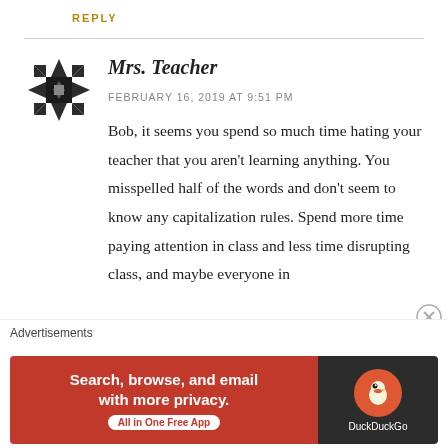REPLY
[Figure (illustration): Geometric quilt-pattern avatar icon in dark gray/black with star and diamond shapes]
Mrs. Teacher
FEBRUARY 16, 2019 AT 9:51 PM
Bob, it seems you spend so much time hating your teacher that you aren't learning anything. You misspelled half of the words and don't seem to know any capitalization rules. Spend more time paying attention in class and less time disrupting class, and maybe everyone in
[Figure (screenshot): DuckDuckGo advertisement banner: orange/red background with text 'Search, browse, and email with more privacy. All in One Free App' and DuckDuckGo logo on dark background]
Advertisements